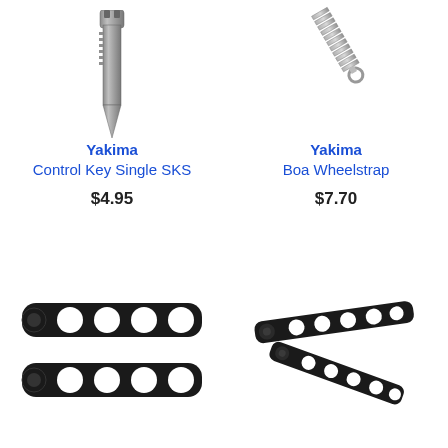[Figure (photo): Yakima Control Key Single SKS - a metal key blade shown vertically, pointed at bottom]
Yakima
Control Key Single SKS
$4.95
[Figure (photo): Yakima Boa Wheelstrap - a metal spring/strap component shown at angle]
Yakima
Boa Wheelstrap
$7.70
[Figure (photo): Two black rubber straps with circular holes, shown parallel]
[Figure (photo): Black plastic strap connector pieces with holes, crossed arrangement]